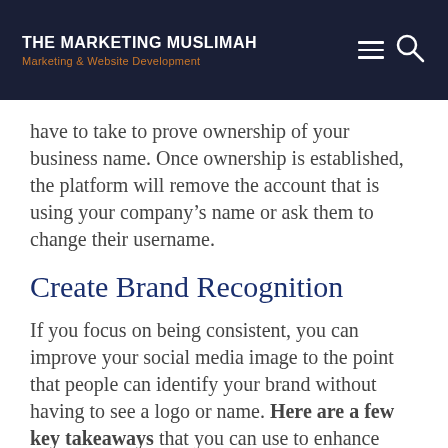THE MARKETING MUSLIMAH
Marketing & Website Development
have to take to prove ownership of your business name. Once ownership is established, the platform will remove the account that is using your company’s name or ask them to change their username.
Create Brand Recognition
If you focus on being consistent, you can improve your social media image to the point that people can identify your brand without having to see a logo or name. Here are a few key takeaways that you can use to enhance your brand image on social media by being